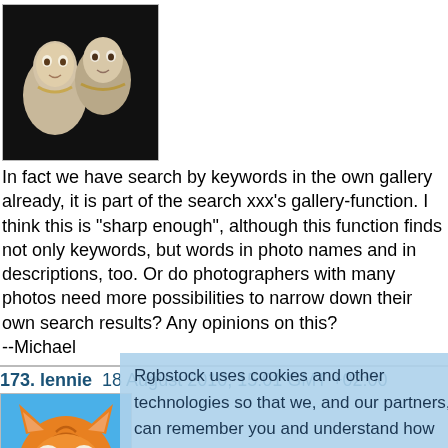[Figure (photo): Two pale doll faces/heads against a dark background]
In fact we have search by keywords in the own gallery already, it is part of the search xxx's gallery-function. I think this is "sharp enough", although this function finds not only keywords, but words in photo names and in descriptions, too. Or do photographers with many photos need more possibilities to narrow down their own search results? Any opinions on this?
--Michael
173. lennie  18 August 2010, 15:01 GMT +02:00
[Figure (illustration): Cartoon cat avatar with orange fur and big eyes]
Yeah, I mean something like the keywords of the image, something you can click on:
http://www.rgbstock.com/photo/1mQUF3/Flagstone+walkway